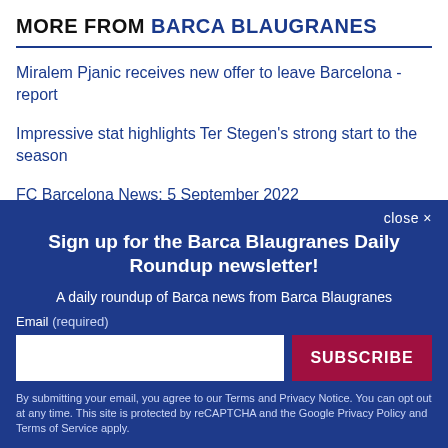MORE FROM BARCA BLAUGRANES
Miralem Pjanic receives new offer to leave Barcelona - report
Impressive stat highlights Ter Stegen's strong start to the season
FC Barcelona News: 5 September 2022
close ✕
Sign up for the Barca Blaugranes Daily Roundup newsletter!
A daily roundup of Barca news from Barca Blaugranes
Email (required)
SUBSCRIBE
By submitting your email, you agree to our Terms and Privacy Notice. You can opt out at any time. This site is protected by reCAPTCHA and the Google Privacy Policy and Terms of Service apply.